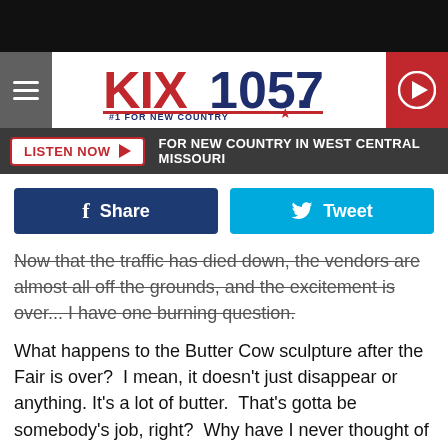[Figure (screenshot): Black top bar (decorative)]
[Figure (logo): KIX 105.7 #1 For New Country radio station logo with hamburger menu and play button]
LISTEN NOW ▶  FOR NEW COUNTRY IN WEST CENTRAL MISSOURI
Share
Tweet
Now that the traffic has died down, the vendors are almost all off the grounds, and the excitement is over... I have one burning question.
What happens to the Butter Cow sculpture after the Fair is over?  I mean, it doesn't just disappear or anything. It's a lot of butter.  That's gotta be somebody's job, right?  Why have I never thought of this before? Do they just break it off into chunks and hand it out to employees? Does someone actually eat it? Do they throw it away? Does a local